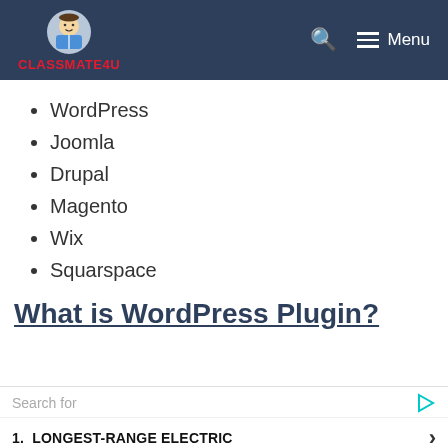CLASSMATE4U — Menu
WordPress
Joomla
Drupal
Magento
Wix
Squarspace
What is WordPress Plugin?
Search for
1. LONGEST-RANGE ELECTRIC
2. DIGITAL SIGNAGE DISPLAY BOARD
Yahoo! Search | Sponsored